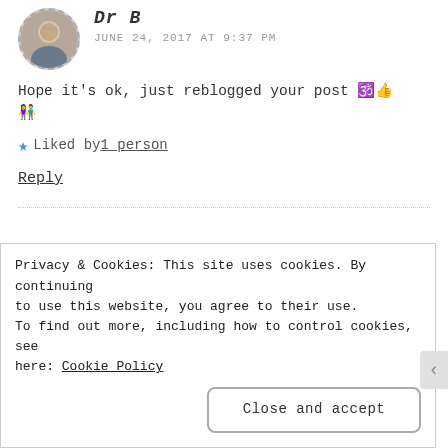[Figure (photo): Circular avatar photo of user Dr B, elderly man with short grey hair]
Dr B
JUNE 24, 2017 AT 9:37 PM
Hope it’s ok, just reblogged your post 🕉️👍
👫
★ Liked by 1 person
Reply
[Figure (photo): Circular avatar photo of user adventuresofabusymomcom, woman with light curly hair]
adventuresofabusymomcom
Privacy & Cookies: This site uses cookies. By continuing to use this website, you agree to their use.
To find out more, including how to control cookies, see here: Cookie Policy
Close and accept